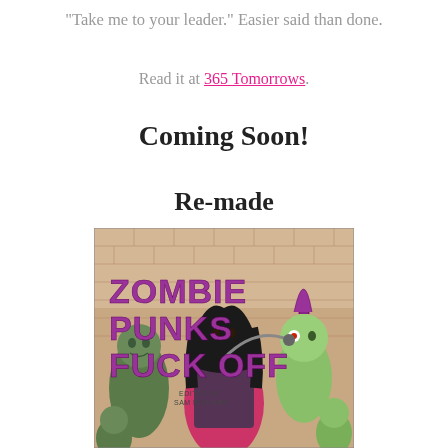“Take me to your leader.” Easier said than done.
Read it at 365 Tomorrows.
Coming Soon!
Re-made
[Figure (illustration): Book cover of 'Zombie Punks Fuck Off' edited by Sam Richard. Shows zombie figures and a dark-haired woman in a chaotic scene against a brick wall background, with the title in large purple/magenta lettering.]